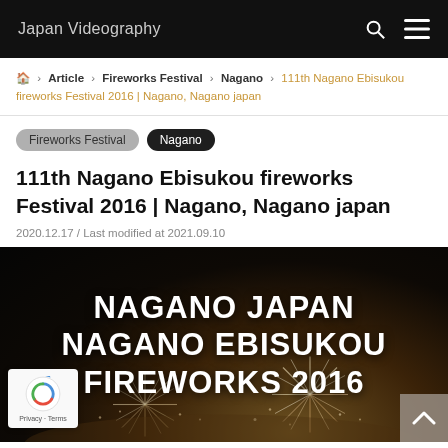Japan Videography
🏠 > Article > Fireworks Festival > Nagano > 111th Nagano Ebisukou fireworks Festival 2016 | Nagano, Nagano japan
Fireworks Festival  Nagano
111th Nagano Ebisukou fireworks Festival 2016 | Nagano, Nagano japan
2020.12.17 / Last modified at 2021.09.10
[Figure (photo): Dark background fireworks display image with large white bold text overlay reading: NAGANO JAPAN NAGANO EBISUKOU FIREWORKS 2016. A reCAPTCHA badge is visible in the lower left, and a scroll-to-top arrow button in the lower right.]